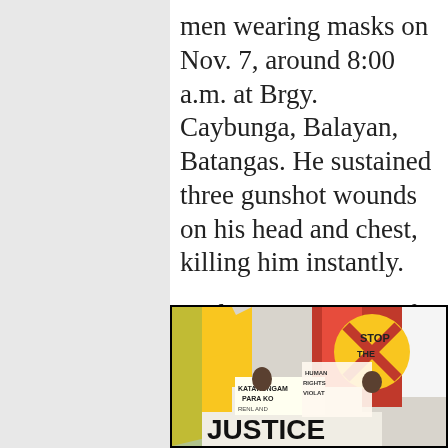men wearing masks on Nov. 7, around 8:00 a.m. at Brgy. Caybunga, Balayan, Batangas. He sustained three gunshot wounds on his head and chest, killing him instantly.
Rodriguez was one of the peasant farmers who continuously fought land grabbing in Coral, Batangas.
[Figure (photo): Protest scene with people holding signs reading 'JUSTICE', 'KATARUNGAM PARA KO', 'HUMAN RIGHTS VIOLATIONS', and a yellow circular 'STOP THE' sign, with red and yellow flags in the background.]